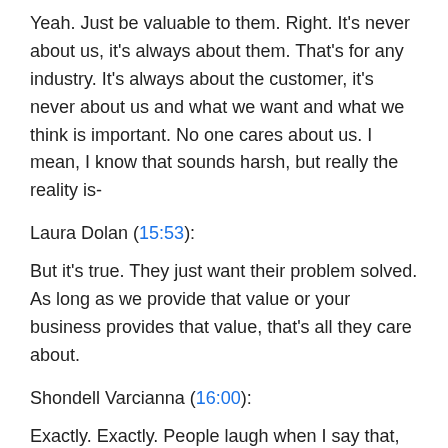Yeah. Just be valuable to them. Right. It's never about us, it's always about them. That's for any industry. It's always about the customer, it's never about us and what we want and what we think is important. No one cares about us. I mean, I know that sounds harsh, but really the reality is-
Laura Dolan (15:53):
But it's true. They just want their problem solved. As long as we provide that value or your business provides that value, that's all they care about.
Shondell Varcianna (16:00):
Exactly. Exactly. People laugh when I say that, but it's the truth. We think about ourselves. If you can help somebody get from A to B, especially buying a house, that's the largest purchase people make. It's a dream